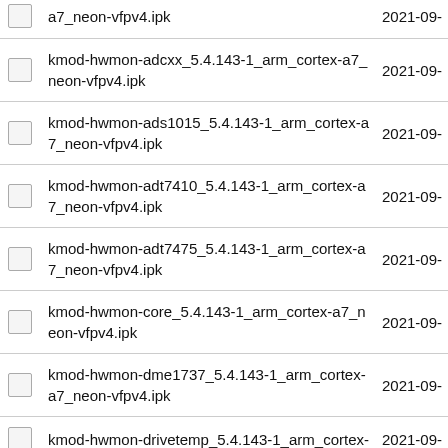a7_neon-vfpv4.ipk   2021-09-
kmod-hwmon-adcxx_5.4.143-1_arm_cortex-a7_neon-vfpv4.ipk   2021-09-
kmod-hwmon-ads1015_5.4.143-1_arm_cortex-a7_neon-vfpv4.ipk   2021-09-
kmod-hwmon-adt7410_5.4.143-1_arm_cortex-a7_neon-vfpv4.ipk   2021-09-
kmod-hwmon-adt7475_5.4.143-1_arm_cortex-a7_neon-vfpv4.ipk   2021-09-
kmod-hwmon-core_5.4.143-1_arm_cortex-a7_neon-vfpv4.ipk   2021-09-
kmod-hwmon-dme1737_5.4.143-1_arm_cortex-a7_neon-vfpv4.ipk   2021-09-
kmod-hwmon-drivetemp_5.4.143-1_arm_cortex-   2021-09-